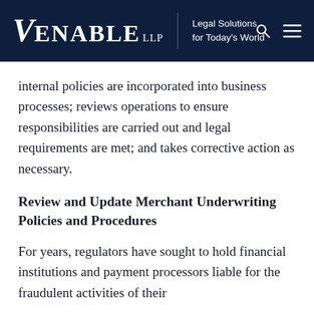VENABLE LLP | Legal Solutions for Today's World
internal policies are incorporated into business processes; reviews operations to ensure responsibilities are carried out and legal requirements are met; and takes corrective action as necessary.
Review and Update Merchant Underwriting Policies and Procedures
For years, regulators have sought to hold financial institutions and payment processors liable for the fraudulent activities of their